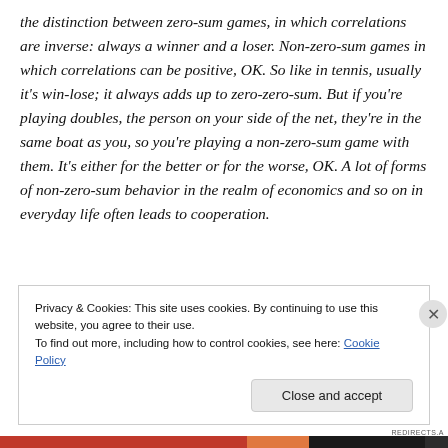the distinction between zero-sum games, in which correlations are inverse: always a winner and a loser. Non-zero-sum games in which correlations can be positive, OK. So like in tennis, usually it's win-lose; it always adds up to zero-zero-sum. But if you're playing doubles, the person on your side of the net, they're in the same boat as you, so you're playing a non-zero-sum game with them. It's either for the better or for the worse, OK. A lot of forms of non-zero-sum behavior in the realm of economics and so on in everyday life often leads to cooperation.
Privacy & Cookies: This site uses cookies. By continuing to use this website, you agree to their use. To find out more, including how to control cookies, see here: Cookie Policy